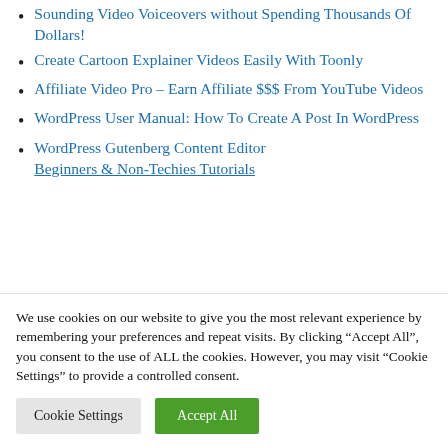Sounding Video Voiceovers without Spending Thousands Of Dollars!
Create Cartoon Explainer Videos Easily With Toonly
Affiliate Video Pro – Earn Affiliate $$$ From YouTube Videos
WordPress User Manual: How To Create A Post In WordPress
WordPress Gutenberg Content Editor Beginners & Non-Techies Tutorials
We use cookies on our website to give you the most relevant experience by remembering your preferences and repeat visits. By clicking "Accept All", you consent to the use of ALL the cookies. However, you may visit "Cookie Settings" to provide a controlled consent.
Cookie Settings | Accept All